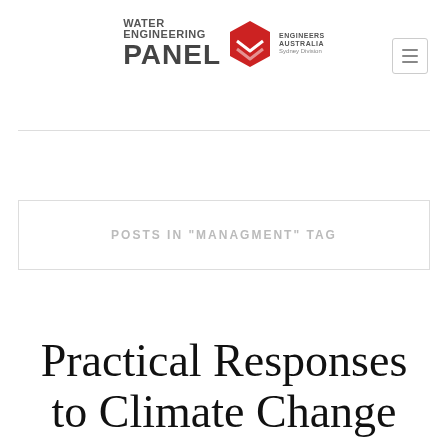[Figure (logo): Water Engineering Panel logo with Engineers Australia Sydney Division branding and red geometric icon]
POSTS IN "MANAGMENT" TAG
Practical Responses to Climate Change